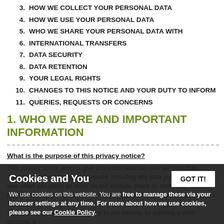3. HOW WE COLLECT YOUR PERSONAL DATA
4. HOW WE USE YOUR PERSONAL DATA
5. WHO WE SHARE YOUR PERSONAL DATA WITH
6. INTERNATIONAL TRANSFERS
7. DATA SECURITY
8. DATA RETENTION
9. YOUR LEGAL RIGHTS
10. CHANGES TO THIS NOTICE AND YOUR DUTY TO INFORM...
11. QUERIES, REQUESTS OR CONCERNS
1. WHO WE ARE AND IMPORTANT INFORMATION
What is the purpose of this privacy notice?
This privacy notice aims to give you information on how we collect and deal with your data on this website, including any data you may provide when you place an order on our website, place an order over the telephone, email, place another e-commerce transaction, by post, request a quotation, order on any website, sign up to our website by creating a user account, subscribe, download a quick document or other media that requires you to submit your details.
This website is not intended for children and we do not knowingly co...
Cookies and You
We use cookies on this website. You are free to manage these via your browser settings at any time. For more about how we use cookies, please see our Cookie Policy.